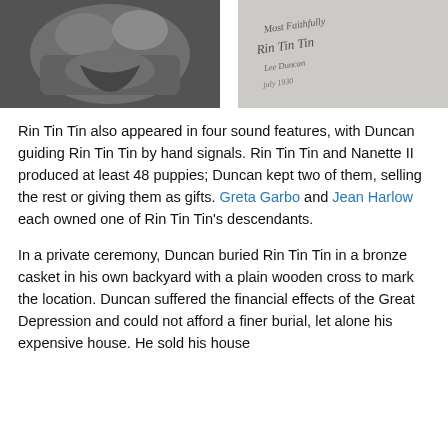[Figure (photo): Black and white photograph of Rin Tin Tin (a German Shepherd dog), close-up view]
[Figure (photo): Black and white photograph showing a handwritten autograph/signature reading 'Most Faithfully Rin Tin Tin' with additional handwriting]
Rin Tin Tin also appeared in four sound features, with Duncan guiding Rin Tin Tin by hand signals. Rin Tin Tin and Nanette II produced at least 48 puppies; Duncan kept two of them, selling the rest or giving them as gifts. Greta Garbo and Jean Harlow each owned one of Rin Tin Tin's descendants.
In a private ceremony, Duncan buried Rin Tin Tin in a bronze casket in his own backyard with a plain wooden cross to mark the location. Duncan suffered the financial effects of the Great Depression and could not afford a finer burial, let alone his expensive house. He sold his house